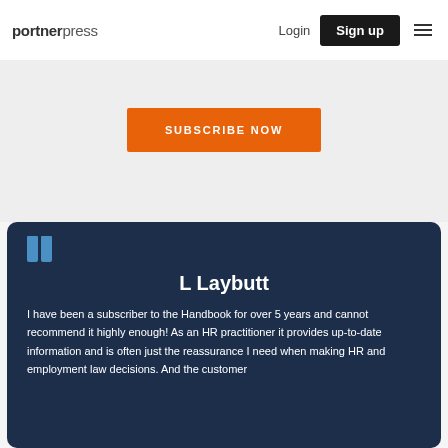portnerpress | Login | Sign up
SUBSCRIBE NOW
L Laybutt

I have been a subscriber to the Handbook for over 5 years and cannot recommend it highly enough! As an HR practitioner it provides up-to-date information and is often just the reassurance I need when making HR and employment law decisions. And the customer